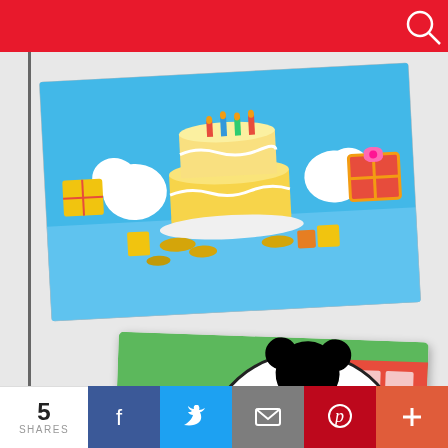[Figure (photo): Red website header bar with search icon in top right corner]
[Figure (illustration): Mickey Mouse birthday party invitation card showing cartoon characters around a birthday cake with candles, gifts on a blue background]
[Figure (illustration): Mickey Mouse 'Please Join Us' party invitation card with Minnie Mouse and Mickey Mouse characters, fill-in fields for FOR, DATE, TIME, PLACE, RSVP]
This website uses cookies to improve your experience. We'll assume you're ok with this, but you can opt-out if you wish.
5 SHARES
[Figure (infographic): Social share bar with Facebook, Twitter, Email, Pinterest, and plus buttons]